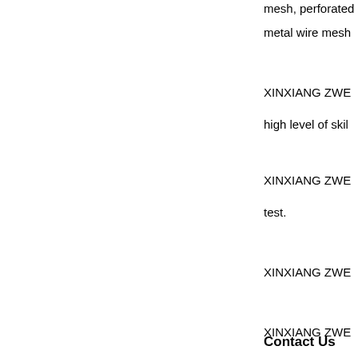mesh, perforated
metal wire mesh
XINXIANG ZWE
high level of skil
XINXIANG ZWE
test.
XINXIANG ZWE
XINXIANG ZWE
Contact Us